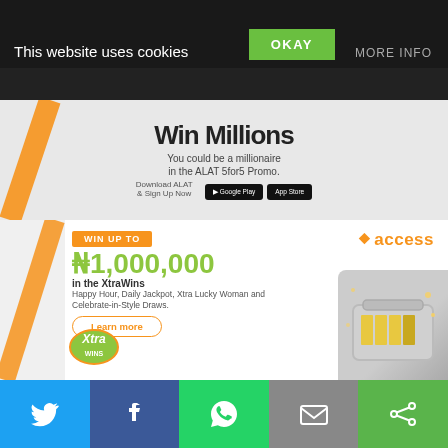This website uses cookies
OKAY
MORE INFO
[Figure (screenshot): ALAT bank promotion banner: 'Win Millions - You could be a millionaire in the ALAT 5for5 Promo. Download ALAT & Sign Up Now' with Google Play and App Store buttons]
[Figure (screenshot): Access Bank XtraWins promotion banner: 'WIN UP TO ₦1,000,000 in the XtraWins Happy Hour, Daily Jackpot, Xtra Lucky Woman and Celebrate-in-Style Draws. Learn more' with suitcase full of money image]
[Figure (screenshot): FirstBank Spark Kindness everyday promotional banner with purple background]
[Figure (screenshot): Social sharing footer with Twitter, Facebook, WhatsApp, Email, and another icon]